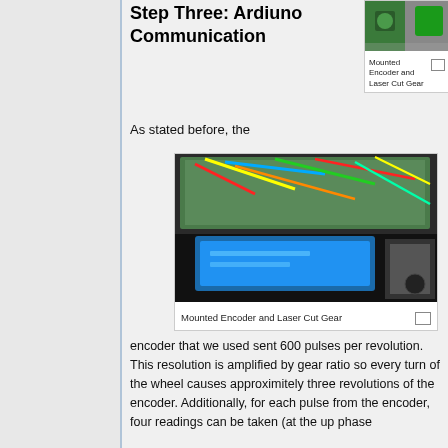Step Three: Ardiuno Communication
[Figure (photo): Mounted encoder and laser cut gear - small image at top right]
Mounted Encoder and Laser Cut Gear
As stated before, the
[Figure (photo): Breadboard with Arduino, wires, and LCD display showing blue screen - Mounted Encoder and Laser Cut Gear]
Mounted Encoder and Laser Cut Gear
encoder that we used sent 600 pulses per revolution. This resolution is amplified by gear ratio so every turn of the wheel causes approximitely three revolutions of the encoder. Additionally, for each pulse from the encoder, four readings can be taken (at the up phase